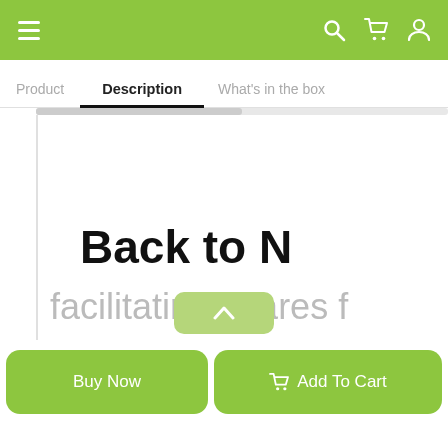Navigation bar with hamburger menu, search, cart, and user icons
Product   Description   What's in the box
Back to N
facilitating shares f
Buy Now
Add To Cart